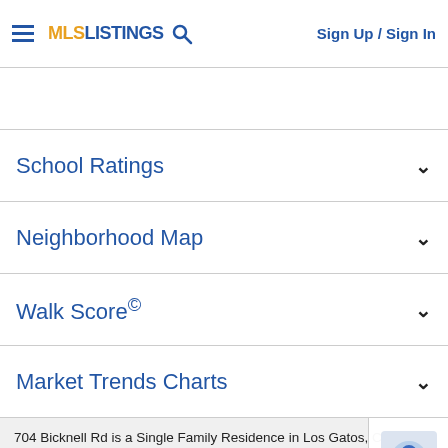MLS LISTINGS | Sign Up / Sign In
School Ratings
Neighborhood Map
Walk Score©
Market Trends Charts
704 Bicknell Rd is a Single Family Residence in Los Gatos, CA 95030. This 3,205 square foot property sits on a 0.548 Acres Lot and features 4 bedrooms & 3 full bathrooms. It is currently priced at $3,500,000 and was built in 1... address can also be written as 704 Bicknell Rd, Los Gatos, CA 95030...
Call | Agent | Directions